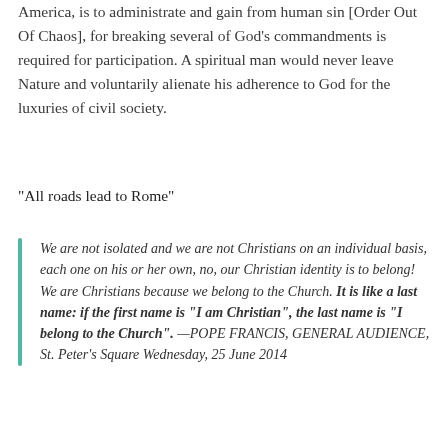America, is to administrate and gain from human sin [Order Out Of Chaos], for breaking several of God's commandments is required for participation. A spiritual man would never leave Nature and voluntarily alienate his adherence to God for the luxuries of civil society.
“All roads lead to Rome”
We are not isolated and we are not Christians on an individual basis, each one on his or her own, no, our Christian identity is to belong! We are Christians because we belong to the Church. It is like a last name: if the first name is “I am Christian”, the last name is “I belong to the Church”. —POPE FRANCIS, GENERAL AUDIENCE, St. Peter’s Square Wednesday, 25 June 2014